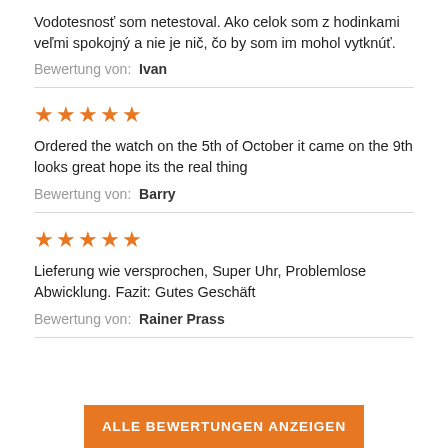Vodotesnosť som netestoval. Ako celok som z hodinkami veľmi spokojný a nie je nič, čo by som im mohol vytknúť.
Bewertung von: Ivan
[Figure (other): 5 orange stars rating]
Ordered the watch on the 5th of October it came on the 9th looks great hope its the real thing
Bewertung von: Barry
[Figure (other): 5 orange stars rating]
Lieferung wie versprochen, Super Uhr, Problemlose Abwicklung. Fazit: Gutes Geschäft
Bewertung von: Rainer Prass
ALLE BEWERTUNGEN ANZEIGEN